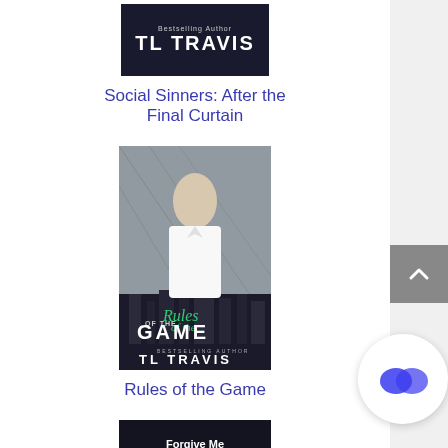[Figure (illustration): Book cover for 'Social Sinners: After the Final Curtain' by TL Travis — dark background with author name in white bold text]
Social Sinners: After the Final Curtain
[Figure (illustration): Book cover for 'Rules of the Game' by TL Travis — man in white shirt against city/glass background, green cursive 'Rules' text and bold white 'OF THE GAME']
Rules of the Game
[Figure (illustration): Book cover for 'Forgive Me Father' — dark background with title in white and red italic text, partial face visible]